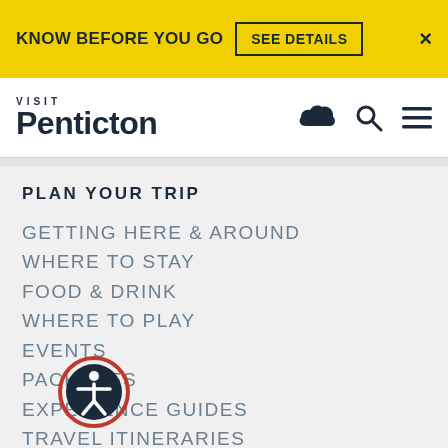KNOW BEFORE YOU GO  SEE DETAILS  ×
[Figure (logo): Visit Penticton logo with cloud, search, and menu icons]
PLAN YOUR TRIP
GETTING HERE & AROUND
WHERE TO STAY
FOOD & DRINK
WHERE TO PLAY
EVENTS
PACKAGES
EXPERIENCE GUIDES
TRAVEL ITINERARIES
PENTICTON VISITOR CENTRE
[Figure (illustration): Accessibility icon (person-in-circle) with red/dark navy ring overlay]